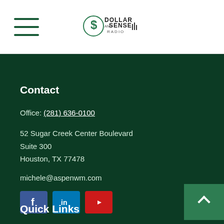[Figure (logo): Dollar and Sense Radio logo with green dollar sign]
Contact
Office: (281) 636-0100
52 Sugar Creek Center Boulevard
Suite 300
Houston, TX 77478
michele@aspenwm.com
[Figure (other): Social media icons: Facebook, LinkedIn, YouTube]
Quick Links